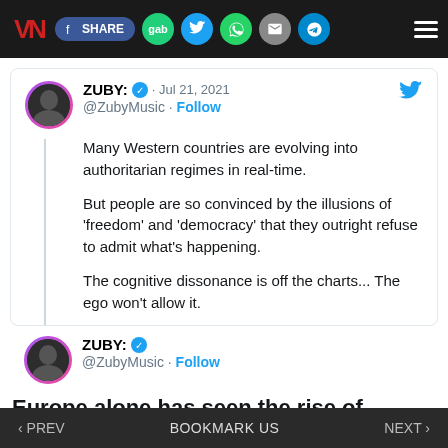VN | SHARE | gab | Twitter | WhatsApp | Email | Telegram | Menu
ZUBY: ✓ · Jul 21, 2021
@ZubyMusic · Follow
Many Western countries are evolving into authoritarian regimes in real-time.

But people are so convinced by the illusions of 'freedom' and 'democracy' that they outright refuse to admit what's happening.

The cognitive dissonance is off the charts... The ego won't allow it.
ZUBY: ✓
@ZubyMusic · Follow
Europe alone has seen the rise of multiple authoritarian regimes over the past few centuries.
‹ PREV    BOOKMARK US    NEXT ›